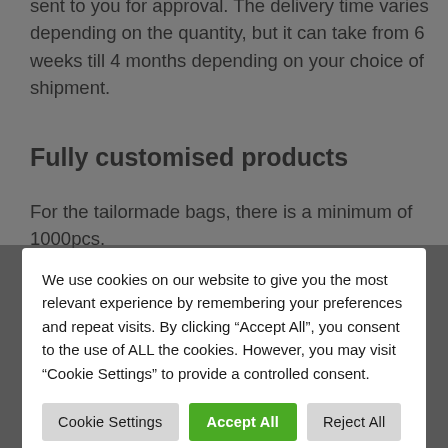sent to you for approval. The delivery time varies depending on the quantity, but it can take from 6 weeks till 4 months depending on your choice of shipment.
Fully customised products
For the tailormade bags, there is a minimum of 1000pcs.
We use cookies on our website to give you the most relevant experience by remembering your preferences and repeat visits. By clicking “Accept All”, you consent to the use of ALL the cookies. However, you may visit “Cookie Settings” to provide a controlled consent.
Cookie Settings | Accept All | Reject All
guide you through the possibilities, to make sure you receive your unique tailormade bag according to your very own wishes! All we need is an AI or EPS file and we will send you a layout for approval and also arrange for a sample so you can check the quality and see how the bag will look and feel before production starts. The delivery time depends on the quantity and your choice